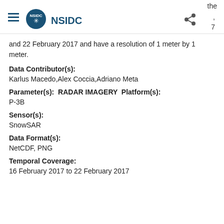NSIDC
and 22 February 2017 and have a resolution of 1 meter by 1 meter.
Data Contributor(s):
Karlus Macedo,Alex Coccia,Adriano Meta
Parameter(s):  RADAR IMAGERY  Platform(s):
P-3B
Sensor(s):
SnowSAR
Data Format(s):
NetCDF, PNG
Temporal Coverage:
16 February 2017 to 22 February 2017